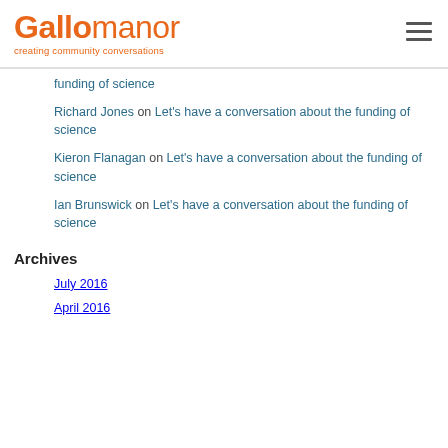Gallomanor – creating community conversations
funding of science
Richard Jones on Let's have a conversation about the funding of science
Kieron Flanagan on Let's have a conversation about the funding of science
Ian Brunswick on Let's have a conversation about the funding of science
Archives
July 2016
April 2016